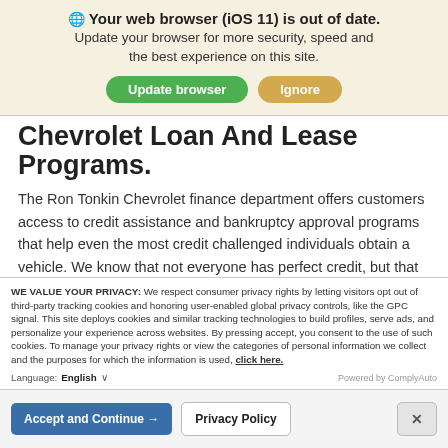🌐 Your web browser (iOS 11) is out of date. Update your browser for more security, speed and the best experience on this site.
Update browser | Ignore
Chevrolet Loan And Lease Programs.
The Ron Tonkin Chevrolet finance department offers customers access to credit assistance and bankruptcy approval programs that help even the most credit challenged individuals obtain a vehicle. We know that not everyone has perfect credit, but that shouldn't disqualify them from obtaining the vehicle they want. Regardless of your current credit score or credit history, Ron Tonkin Chevrolet wants to help!
WE VALUE YOUR PRIVACY: We respect consumer privacy rights by letting visitors opt out of third-party tracking cookies and honoring user-enabled global privacy controls, like the GPC signal. This site deploys cookies and similar tracking technologies to build profiles, serve ads, and personalize your experience across websites. By pressing accept, you consent to the use of such cookies. To manage your privacy rights or view the categories of personal information we collect and the purposes for which the information is used, click here.
Language: English ∨   Powered by ComplyAuto
Accept and Continue → | Privacy Policy | ×